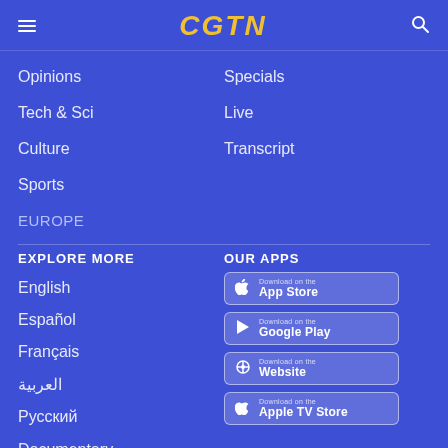CGTN
Opinions
Specials
Tech & Sci
Live
Culture
Transcript
Sports
EUROPE
EXPLORE MORE
OUR APPS
English
[Figure (screenshot): App Store download button]
Español
[Figure (screenshot): Google Play download button]
Français
[Figure (screenshot): Website download button]
العربية
[Figure (screenshot): Apple TV Store download button]
Русский
Documentary